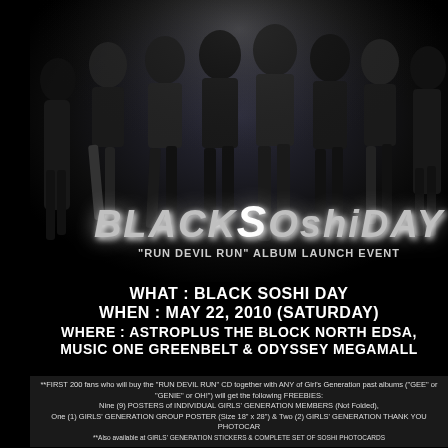[Figure (photo): Group photo of Girls' Generation (SNSD) members in black outfits against a dark background, full body pose for Black Soshi Day event]
BLACKSOshIDAY
"RUN DEVIL RUN" ALBUM LAUNCH EVENT
WHAT : BLACK SOSHI DAY
WHEN : MAY 22, 2010 (SATURDAY)
WHERE : ASTROPLUS THE BLOCK NORTH EDSA, MUSIC ONE GREENBELT & ODYSSEY MEGAMALL
**FIRST 200 fans who will buy the "RUN DEVIL RUN" CD together with ANY of Girl's Generation past albums ("GEE" or "GENIE" or OH!") will get the following FREEBIES: Nine (9) POSTERS of INDIVIDUAL GIRLS' GENERATION MEMBERS (Not Folded), One (1) GIRLS' GENERATION GROUP POSTER (Size 18" x 28") & Two (2) GIRLS' GENERATION THANK YOU PHOTOCARDS